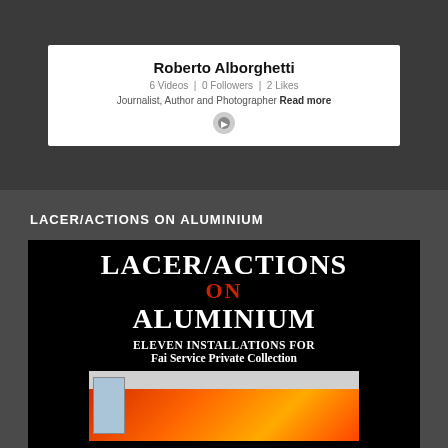[Figure (screenshot): Profile card for Roberto Alborghetti showing name, stats (6 Videos, 0 Followers, 2 Likes), and bio 'Journalist, Author and Photographer Read more' with a social icon below, on dark background]
LACER/ACTIONS ON ALUMINIUM
[Figure (photo): Book cover for 'LACER/ACTIONS ON ALUMINIUM - ELEVEN INSTALLATIONS FOR Fai Service Private Collection' on black background with a photo of a large red/orange artwork installed in a white room]